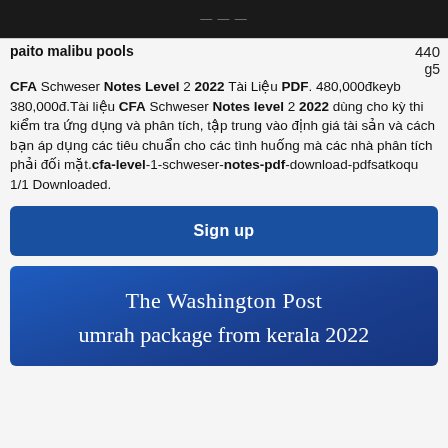440
paito malibu pools
g5
CFA Schweser Notes Level 2 2022 Tài Liệu PDF. 480,000đkeyb 380,000đ.Tài liệu CFA Schweser Notes level 2 2022 dùng cho kỳ thi kiểm tra ứng dụng và phân tích, tập trung vào định giá tài sản và cách bạn áp dụng các tiêu chuẩn cho các tình huống mà các nhà phân tích phải đối mặt.cfa-level-1-schweser-notes-pdf-download-pdfsatkoqu 1/1 Downloaded.
Sign up
The Washington Post
umrah package from kerala 2022